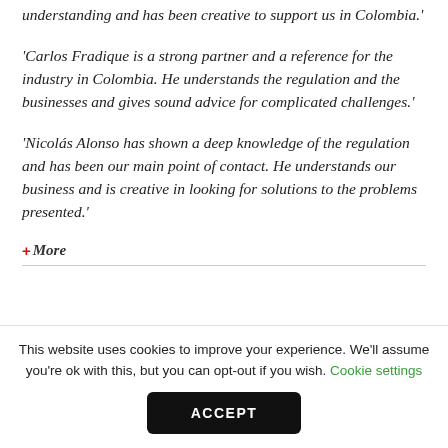understanding and has been creative to support us in Colombia.'
'Carlos Fradique is a strong partner and a reference for the industry in Colombia. He understands the regulation and the businesses and gives sound advice for complicated challenges.'
'Nicolás Alonso has shown a deep knowledge of the regulation and has been our main point of contact. He understands our business and is creative in looking for solutions to the problems presented.'
+ More
This website uses cookies to improve your experience. We'll assume you're ok with this, but you can opt-out if you wish. Cookie settings
ACCEPT